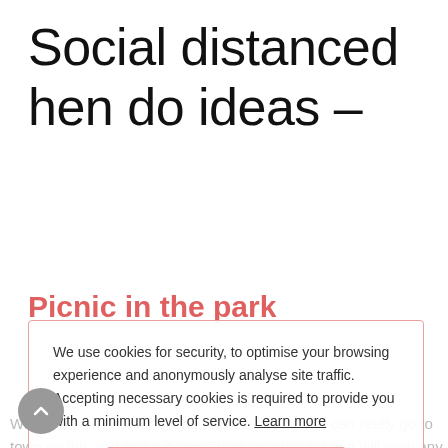Social distanced hen do ideas –
Picnic in the park
While this may sound boring and over done you can really go to town on this and make it something spectacular that will wow any bride. Just picture beautiful blankets, cushions, wicker picnic baskets, pampas, candles, flower arrangements and much more.
[Figure (screenshot): Cookie consent overlay with pink border. Text reads: 'We use cookies for security, to optimise your browsing experience and anonymously analyse site traffic. Accepting necessary cookies is required to provide you with a minimum level of service. Learn more'. Pink 'I understand' button below.]
[Figure (other): Scroll-to-top button (grey circle with upward chevron) in bottom left corner.]